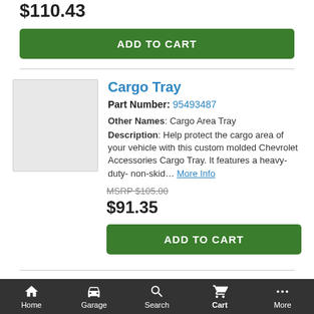$110.43
ADD TO CART
Cargo Tray
Part Number: 95493487
Other Names: Cargo Area Tray
Description: Help protect the cargo area of your vehicle with this custom molded Chevrolet Accessories Cargo Tray. It features a heavy-duty- non-skid... More Info
MSRP $105.00
$91.35
ADD TO CART
Cargo Lamp
Part Number: 22878807
Home  Garage  Search  Cart  More